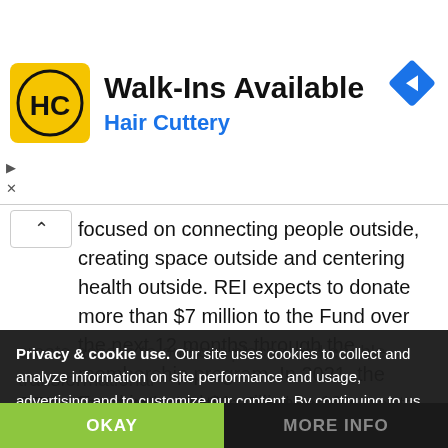[Figure (screenshot): Hair Cuttery advertisement banner with HC logo on yellow background, 'Walk-Ins Available' title, 'Hair Cuttery' subtitle in blue, navigation diamond icon top right, play and close controls on left]
focused on connecting people outside, creating space outside and centering health outside. REI expects to donate more than $7 million to the Fund over the next 12 months through the membership program. In 2021, the Fund invested $1 million in 19 organizations across the country.
REI's Cooperative Action Fund complements the company's broader community investments. Since 1976, REI has invested over $100 million in organizations across the country that
create access to outdoor places and enable transformational life experiences. In 2021, more than 8 million visitors...
...for 2021 will be shared next month in its annual
stewardship report.
Privacy & cookie use. Our site uses cookies to collect and analyze information on site performance and usage, advertising and to customize our content. By continuing to us this website, you agree to their use.
OKAY
MORE INFO